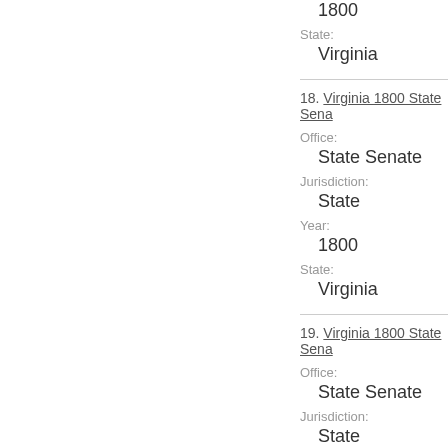1800
State:
Virginia
18. Virginia 1800 State Sena…
Office:
State Senate
Jurisdiction:
State
Year:
1800
State:
Virginia
19. Virginia 1800 State Sena…
Office:
State Senate
Jurisdiction:
State